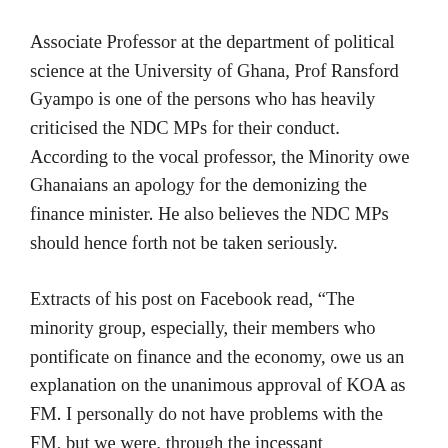Associate Professor at the department of political science at the University of Ghana, Prof Ransford Gyampo is one of the persons who has heavily criticised the NDC MPs for their conduct. According to the vocal professor, the Minority owe Ghanaians an apology for the demonizing the finance minister. He also believes the NDC MPs should hence forth not be taken seriously.
Extracts of his post on Facebook read, “The minority group, especially, their members who pontificate on finance and the economy, owe us an explanation on the unanimous approval of KOA as FM. I personally do not have problems with the FM, but we were, through the incessant bastardization of his policies by the minority group, made to believe that he was the most greedy, insensitive,